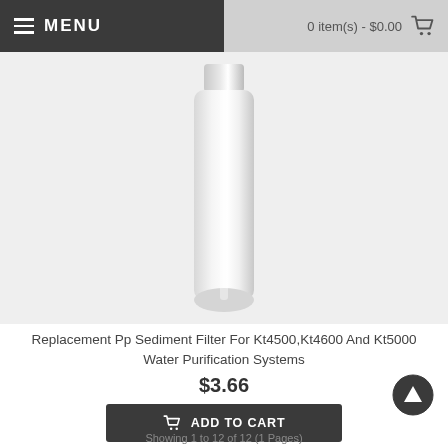MENU | 0 item(s) - $0.00
[Figure (photo): A white cylindrical PP sediment water filter cartridge shown against a light grey background]
Replacement Pp Sediment Filter For Kt4500,Kt4600 And Kt5000 Water Purification Systems
$3.66
ADD TO CART
ADD TO WISH LIST
Showing 1 to 12 of 12 (1 Pages)